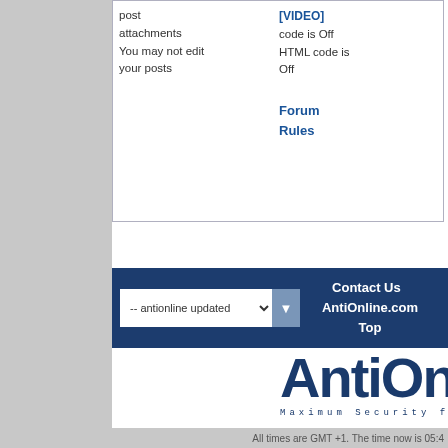post attachments
You may not edit your posts
[VIDEO] code is Off
HTML code is Off
Forum Rules
-- antionline updated
Contact Us   AntiOnline.com
Top
[Figure (logo): AntiOnline logo with text 'Maximum Security for a Connected World']
Terms of Service | About Us | Privacy Notice | Contact Us | Adverti...
Copyright 2022 TechnologyAdvice. All Righ...
Advertiser Disclosure: Some of the products that appear on this s... TechnologyAdvice receives compensation. This compensation ma... appear on this site including, for example, the order in which they ... include all companies or all types of products available in the marke...
All times are GMT +1. The time now is 05:4...